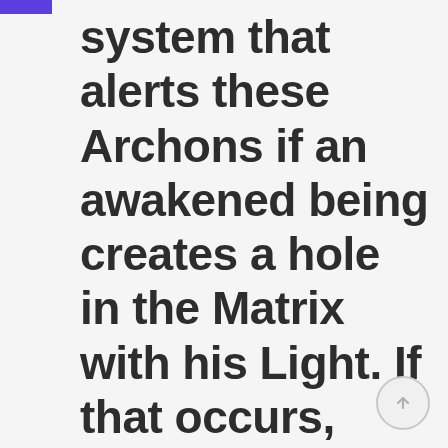system that alerts these Archons if an awakened being creates a hole in the Matrix with his Light. If that occurs, they send a Reptilian slave warrior to put pressure on the